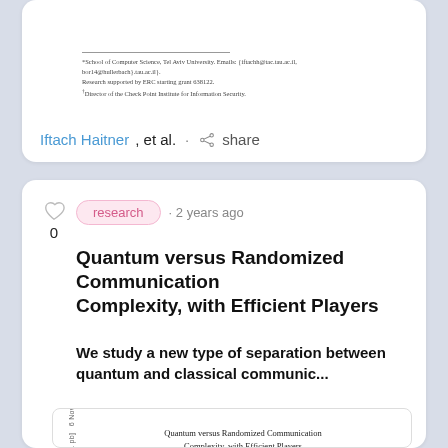*School of Computer Science, Tel Aviv University. Emails: {iftachh@tac.tau.ac.il, bor14@buffalo}oacl.tau.ac.il}. Research supported by ERC starting grant 638121. †Director of the Check Point Institute for Information Security.
Iftach Haitner, et al. · share
research · 2 years ago
Quantum versus Randomized Communication Complexity, with Efficient Players
We study a new type of separation between quantum and classical communic...
[Figure (screenshot): Embedded preview of academic paper titled 'Quantum versus Randomized Communication Complexity, with Efficient Players' by Uma Girish, Ran Raz, Avishay Tal, with Abstract section visible. Rotated date label on left reads 'arXiv:1 pb] 6 Nov 2019'.]